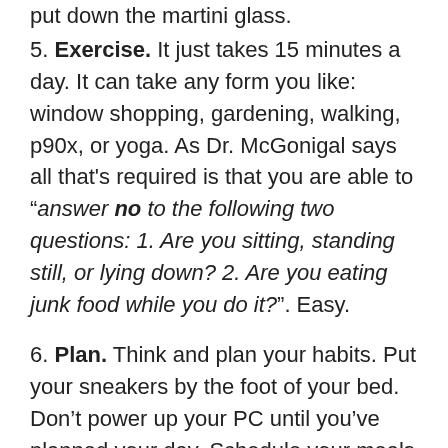put down the martini glass.
5. Exercise.  It just takes 15 minutes a day.  It can take any form you like: window shopping, gardening, walking, p90x, or yoga.  As Dr. McGonigal says all that's required is that you are able to “answer no to the following two questions: 1. Are you sitting, standing still, or lying down? 2. Are you eating junk food while you do it?”.  Easy.
6. Plan.  Think and plan your habits.  Put your sneakers by the foot of your bed.  Don’t power up your PC until you’ve planned your day.  Schedule your meals for the day in advance.  When you’ve planned it out ahead of time, the new habit becomes a default. I guess I have to run this morning because my sneakers are waiting for me.
7. No.  All willpower starts and ends with No.  You will need to push away from the table, turn down the dessert,